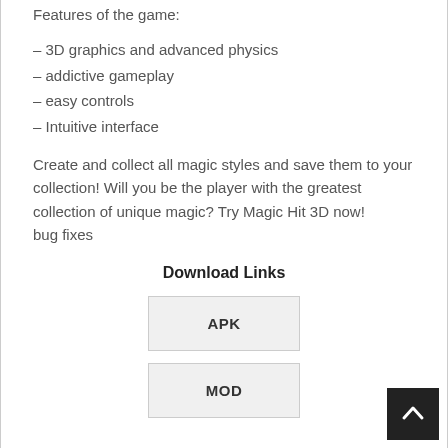Features of the game:
– 3D graphics and advanced physics
– addictive gameplay
– easy controls
– Intuitive interface
Create and collect all magic styles and save them to your collection! Will you be the player with the greatest collection of unique magic? Try Magic Hit 3D now! bug fixes
Download Links
APK
MOD